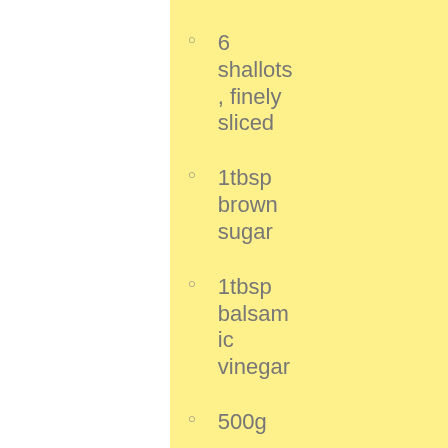6 shallots, finely sliced
1tbsp brown sugar
1tbsp balsamic vinegar
500g